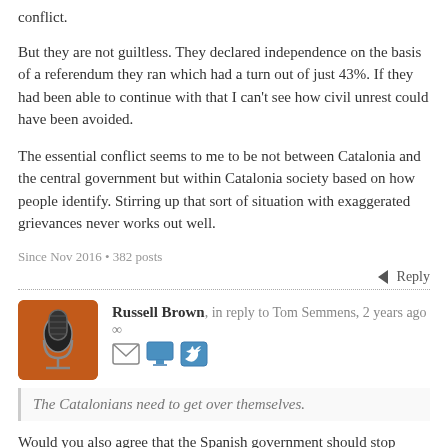conflict.
But they are not guiltless. They declared independence on the basis of a referendum they ran which had a turn out of just 43%. If they had been able to continue with that I can't see how civil unrest could have been avoided.
The essential conflict seems to me to be not between Catalonia and the central government but within Catalonia society based on how people identify. Stirring up that sort of situation with exaggerated grievances never works out well.
Since Nov 2016 • 382 posts
Reply
Russell Brown, in reply to Tom Semmens, 2 years ago
The Catalonians need to get over themselves.
Would you also agree that the Spanish government should stop sentencing political leaders it finds troublesome to very long jail terms?